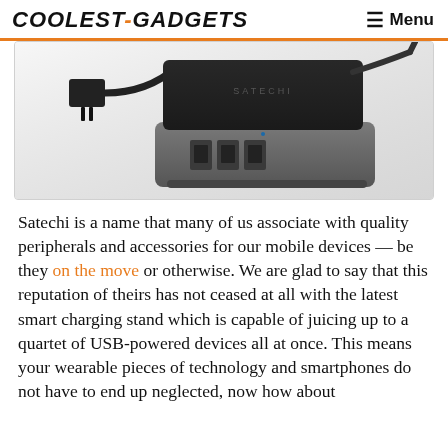COOLEST-GADGETS  ☰ Menu
[Figure (photo): A Satechi USB charging stand/hub with multiple USB ports on the front, a power cable with a US plug on the left, black top section and silver/grey base.]
Satechi is a name that many of us associate with quality peripherals and accessories for our mobile devices — be they on the move or otherwise. We are glad to say that this reputation of theirs has not ceased at all with the latest smart charging stand which is capable of juicing up to a quartet of USB-powered devices all at once. This means your wearable pieces of technology and smartphones do not have to end up neglected, now how about